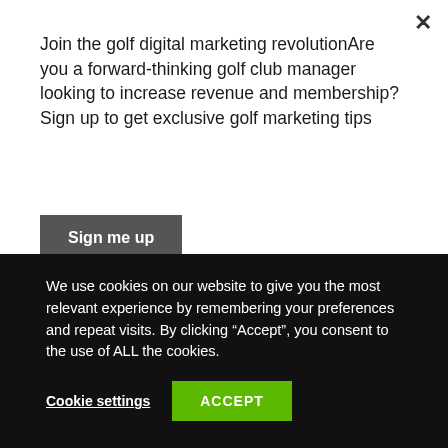Join the golf digital marketing revolutionAre you a forward-thinking golf club manager looking to increase revenue and membership? Sign up to get exclusive golf marketing tips
Sign me up
[Figure (photo): Small thumbnail image of colorful figures (pink/yellow clothing)]
[Figure (photo): Thumbnail image of two golfers shaking hands on a golf course]
Choosing the Perfect Partner
We use cookies on our website to give you the most relevant experience by remembering your preferences and repeat visits. By clicking “Accept”, you consent to the use of ALL the cookies.
Cookie settings
ACCEPT